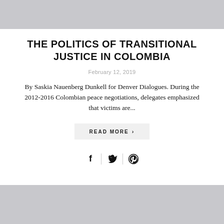[Figure (other): Gray banner image at top of page]
THE POLITICS OF TRANSITIONAL JUSTICE IN COLOMBIA
February 12, 2019
By Saskia Nauenberg Dunkell for Denver Dialogues. During the 2012-2016 Colombian peace negotiations, delegates emphasized that victims are...
READ MORE >
[Figure (other): Social share icons: Facebook, Twitter, Pinterest]
[Figure (other): Gray banner image at bottom of page]